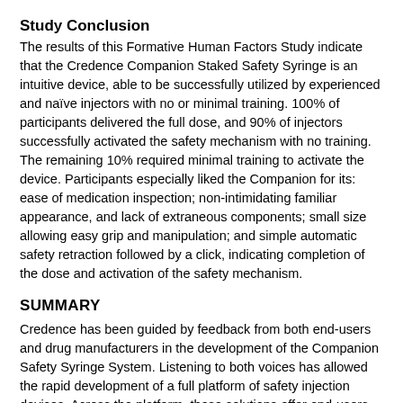Study Conclusion
The results of this Formative Human Factors Study indicate that the Credence Companion Staked Safety Syringe is an intuitive device, able to be successfully utilized by experienced and naïve injectors with no or minimal training. 100% of participants delivered the full dose, and 90% of injectors successfully activated the safety mechanism with no training. The remaining 10% required minimal training to activate the device. Participants especially liked the Companion for its: ease of medication inspection; non-intimidating familiar appearance, and lack of extraneous components; small size allowing easy grip and manipulation; and simple automatic safety retraction followed by a click, indicating completion of the dose and activation of the safety mechanism.
SUMMARY
Credence has been guided by feedback from both end-users and drug manufacturers in the development of the Companion Safety Syringe System. Listening to both voices has allowed the rapid development of a full platform of safety injection devices. Across the platform, these solutions offer end-users the safe and intuitive experience that they demand, while still being designed for the